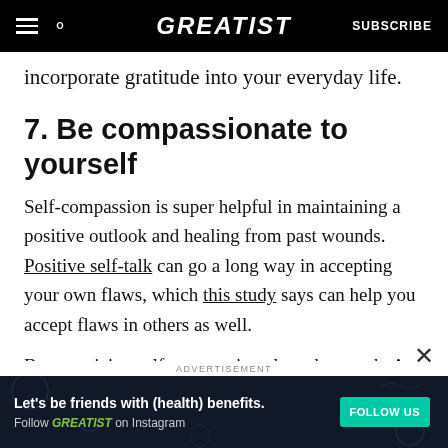GREATIST | SUBSCRIBE
incorporate gratitude into your everyday life.
7. Be compassionate to yourself
Self-compassion is super helpful in maintaining a positive outlook and healing from past wounds. Positive self-talk can go a long way in accepting your own flaws, which this study says can help you accept flaws in others as well.
But practicing self-compassion also takes work. At first, you can just acknowledge every time you
[Figure (other): Advertisement banner: 'Let's be friends with (health) benefits. Follow GREATIST on Instagram' with a FOLLOW US button on a dark background.]